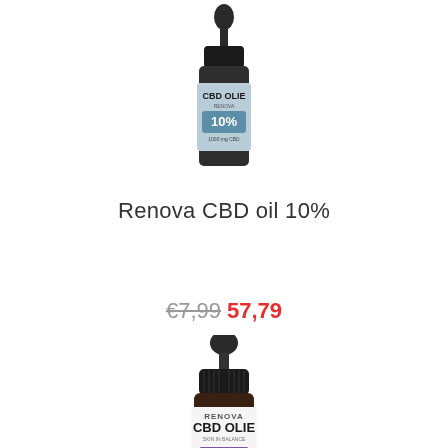[Figure (photo): Small bottle of Renova CBD Olie 10% with teal/blue label showing 10% and dropper cap]
Renova CBD oil 10%
€7,99  57,79
[Figure (photo): Large bottle of Renova CBD Olie with dropper, dark amber bottle with purple/white label showing CBD OLIE and RENOVA branding, partially visible percentage badge at bottom]